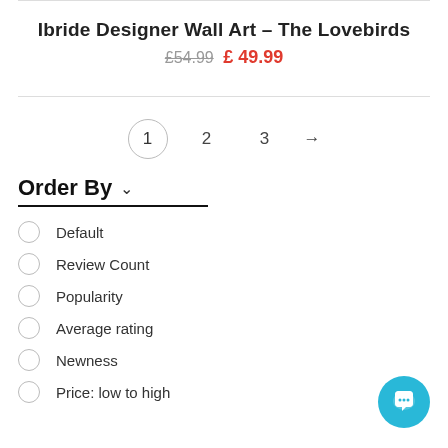Ibride Designer Wall Art – The Lovebirds
£54.99 £49.99
1 2 3 →
Order By
Default
Review Count
Popularity
Average rating
Newness
Price: low to high